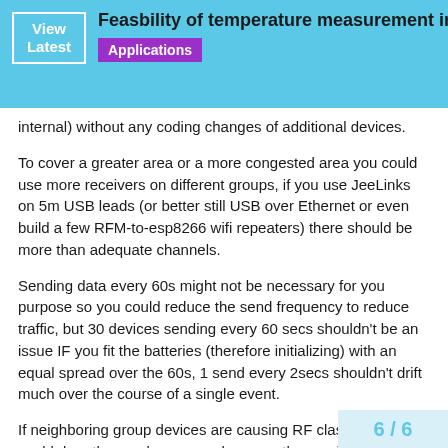Feasbility of temperature measurement in a ... | Applications
internal) without any coding changes of additional devices.
To cover a greater area or a more congested area you could use more receivers on different groups, if you use JeeLinks on 5m USB leads (or better still USB over Ethernet or even build a few RFM-to-esp8266 wifi repeaters) there should be more than adequate channels.
Sending data every 60s might not be necessary for you purpose so you could reduce the send frequency to reduce traffic, but 30 devices sending every 60 secs shouldn't be an issue IF you fit the batteries (therefore initializing) with an equal spread over the 60s, 1 send every 2secs shouldn't drift much over the course of a single event.
If neighboring group devices are causing RF clashes you could drop the send power or decrease the receive threshold so only the strongest (hopefully most local) signals
6 / 6